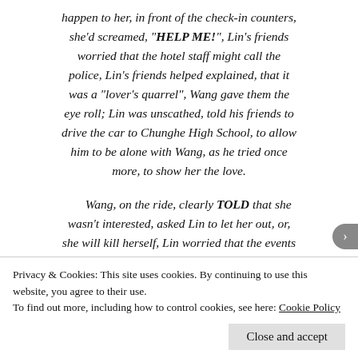happen to her, in front of the check-in counters, she'd screamed, "HELP ME!", Lin's friends worried that the hotel staff might call the police, Lin's friends helped explained, that it was a "lover's quarrel", Wang gave them the eye roll; Lin was unscathed, told his friends to drive the car to Chunghe High School, to allow him to be alone with Wang, as he tried once more, to show her the love.
Wang, on the ride, clearly TOLD that she wasn't interested, asked Lin to let her out, or, she will kill herself, Lin worried that the events might go south, and so, he'd allowed Wang to
Privacy & Cookies: This site uses cookies. By continuing to use this website, you agree to their use.
To find out more, including how to control cookies, see here: Cookie Policy
Close and accept